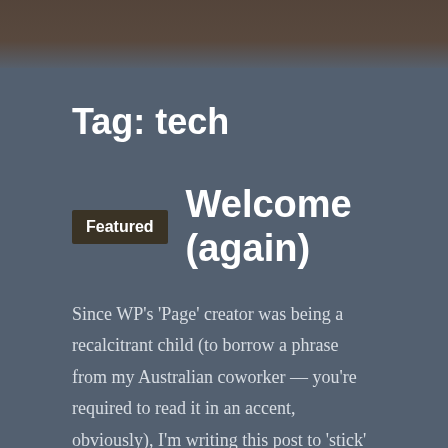[Figure (photo): Partial top banner image with dark brownish tones, appears to be a photo of people or objects, heavily shadowed]
Tag: tech
Featured  Welcome (again)
Since WP’s ‘Page’ creator was being a recalcitrant child (to borrow a phrase from my Australian coworker — you’re required to read it in an accent, obviously), I’m writing this post to ‘stick’ to the top. You see, dear reader, I handed out a few impromptu business cards recently, advertising myself as a “small scale IT service”. Which really means I get to play with other